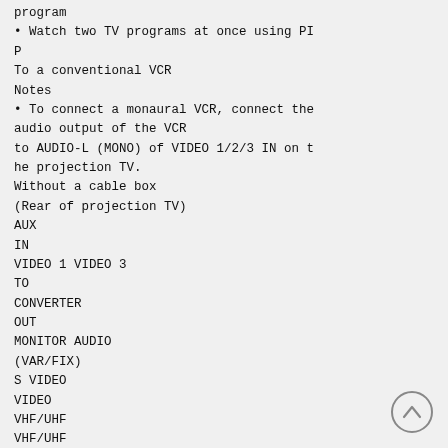program
• Watch two TV programs at once using PIP
To a conventional VCR
Notes
• To connect a monaural VCR, connect the audio output of the VCR to AUDIO-L (MONO) of VIDEO 1/2/3 IN on the projection TV.
Without a cable box
(Rear of projection TV)
AUX
IN
VIDEO 1 VIDEO 3
TO
CONVERTER
OUT
MONITOR AUDIO
(VAR/FIX)
S VIDEO
VIDEO
VHF/UHF
VHF/UHF
L